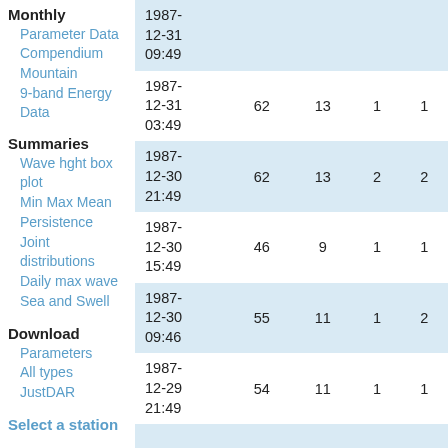Monthly
Parameter Data Compendium
Mountain
9-band Energy Data
Summaries
Wave hght box plot
Min Max Mean
Persistence
Joint distributions
Daily max wave
Sea and Swell
Download
Parameters
All types
JustDAR
Select a station
| Date | Col1 | Col2 | Col3 | Col4 |
| --- | --- | --- | --- | --- |
| 1987-12-31 09:49 |  |  |  |  |
| 1987-12-31 03:49 | 62 | 13 | 1 | 1 |
| 1987-12-30 21:49 | 62 | 13 | 2 | 2 |
| 1987-12-30 15:49 | 46 | 9 | 1 | 1 |
| 1987-12-30 09:46 | 55 | 11 | 1 | 2 |
| 1987-12-29 21:49 | 54 | 11 | 1 | 1 |